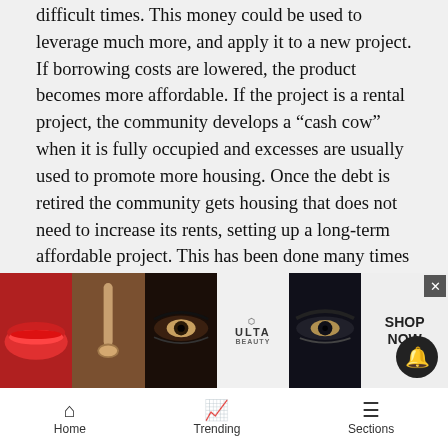difficult times. This money could be used to leverage much more, and apply it to a new project. If borrowing costs are lowered, the product becomes more affordable. If the project is a rental project, the community develops a “cash cow” when it is fully occupied and excesses are usually used to promote more housing. Once the debt is retired the community gets housing that does not need to increase its rents, setting up a long-term affordable project. This has been done many times in many resorts.
Setting up a “soft second” mortgage pool is another use I would favor. By lending a portion of the money to qualified buyers for use as a down payment a borrower can avoid the permanent mortgage insurance cost of their financing, allowing them to get into a home they could not afford in the first place...
[Figure (photo): Ulta Beauty advertisement banner showing makeup-related images: red lips, makeup brush, eye with makeup, Ulta logo, eye closeup, and Shop Now button]
Home   Trending   Sections